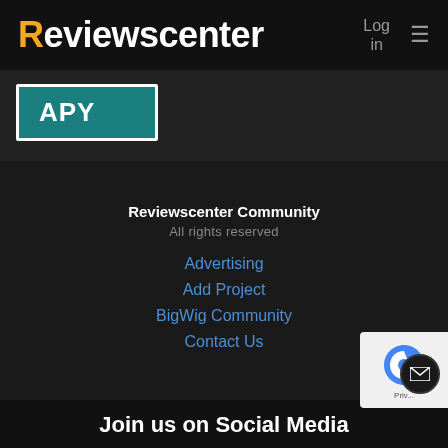Reviewscenter — Log in ≡
[Figure (screenshot): APY label button with teal background and white border]
Reviewscenter Community
All rights reserved
Advertising
Add Project
BigWig Community
Contact Us
Join us on Social Media